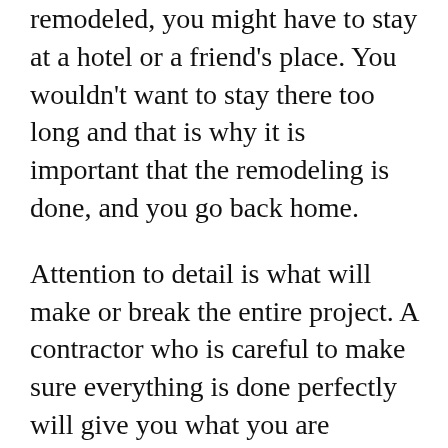remodeled, you might have to stay at a hotel or a friend's place. You wouldn't want to stay there too long and that is why it is important that the remodeling is done, and you go back home.
Attention to detail is what will make or break the entire project. A contractor who is careful to make sure everything is done perfectly will give you what you are looking for. They should be able to meet your expectations, and you can have that wow moment when you first get into your home after the remodeling is done. You can be sure that nothing will be left hanging, every bolt will be tightened and everything done to perfection. They will also not do things in a hurry just to get done with it and leave. They will make sure that everything is done